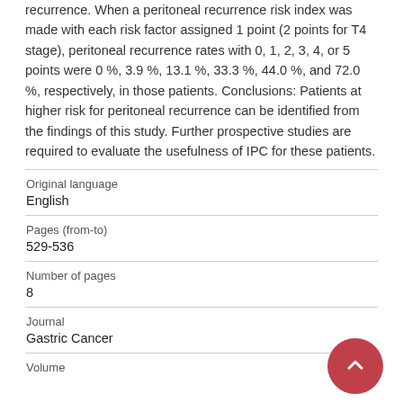recurrence. When a peritoneal recurrence risk index was made with each risk factor assigned 1 point (2 points for T4 stage), peritoneal recurrence rates with 0, 1, 2, 3, 4, or 5 points were 0 %, 3.9 %, 13.1 %, 33.3 %, 44.0 %, and 72.0 %, respectively, in those patients. Conclusions: Patients at higher risk for peritoneal recurrence can be identified from the findings of this study. Further prospective studies are required to evaluate the usefulness of IPC for these patients.
| Field | Value |
| --- | --- |
| Original language | English |
| Pages (from-to) | 529-536 |
| Number of pages | 8 |
| Journal | Gastric Cancer |
| Volume |  |